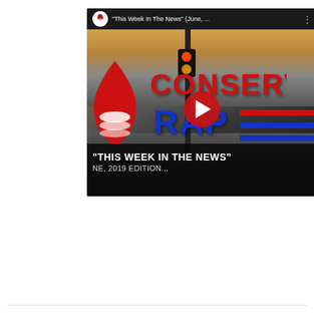[Figure (screenshot): YouTube video thumbnail screenshot showing 'This Week In The News' (June, ...) video from a conservative news channel called Conservative Rap. The thumbnail shows a street intersection scene with the words CONSERV[ATIVE] RAP overlaid in red and blue bold text, along with a flame logo and a play button. Bottom text reads: THIS WEEK IN THE NEWS" / NE, 2019 EDITION...]